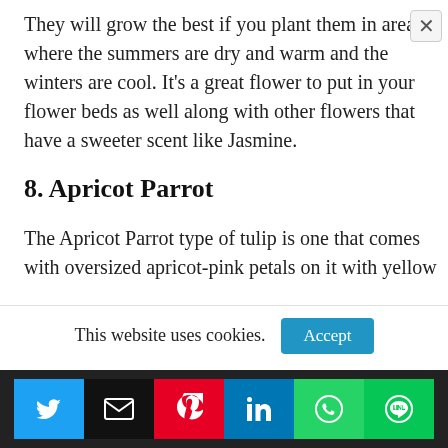They will grow the best if you plant them in areas where the summers are dry and warm and the winters are cool. It's a great flower to put in your flower beds as well along with other flowers that have a sweeter scent like Jasmine.
8. Apricot Parrot
The Apricot Parrot type of tulip is one that comes with oversized apricot-pink petals on it with yellow
This website uses cookies.
[Figure (infographic): Social sharing icons row: Twitter (blue), Email (black), Pinterest (red), LinkedIn (blue), WhatsApp (green), Line (green)]